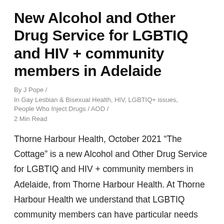New Alcohol and Other Drug Service for LGBTIQ and HIV + community members in Adelaide
By J Pope  /
In Gay Lesbian & Bisexual Health, HIV, LGBTIQ+ issues, People Who Inject Drugs / AOD  /
2 Min Read
Thorne Harbour Health, October 2021 “The Cottage” is a new Alcohol and Other Drug Service for LGBTIQ and HIV + community members in Adelaide, from Thorne Harbour Health.  At Thorne Harbour Health we understand that LGBTIQ community members can have particular needs when it comes to making positive changes in relation to drinking and using